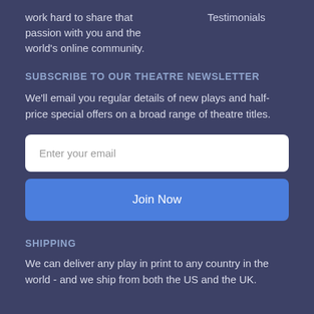work hard to share that passion with you and the world's online community.
Testimonials
SUBSCRIBE TO OUR THEATRE NEWSLETTER
We'll email you regular details of new plays and half-price special offers on a broad range of theatre titles.
Enter your email
Join Now
SHIPPING
We can deliver any play in print to any country in the world - and we ship from both the US and the UK.